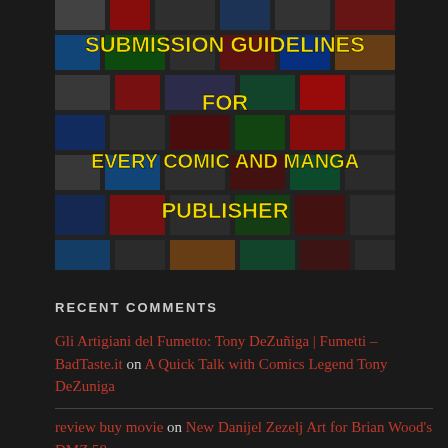[Figure (illustration): Book cover collage showing many comic and manga publisher logos with yellow text overlay reading 'SUBMISSION GUIDELINES FOR EVERY COMIC AND MANGA PUBLISHER' on a dark background.]
RECENT COMMENTS
Gli Artigiani del Fumetto: Tony DeZuñiga | Fumetti – BadTaste.it on A Quick Talk with Comics Legend Tony DeZuniga
review buy movie on New Danijel Zezelj Art for Brian Wood's DMZ 58